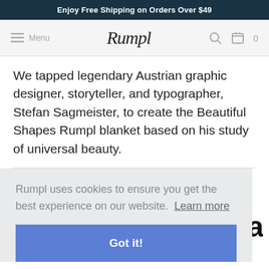Enjoy Free Shipping on Orders Over $49
[Figure (screenshot): Rumpl website navigation bar with hamburger menu, Menu label, Rumpl logo, search icon, and cart icon with 0 items]
We tapped legendary Austrian graphic designer, storyteller, and typographer, Stefan Sagmeister, to create the Beautiful Shapes Rumpl blanket based on his study of universal beauty.
[Figure (infographic): Social sharing icons row: Twitter (blue), Facebook (dark blue), Pinterest (red P), Email (envelope) — each in a circular outlined button]
Rumpl uses cookies to ensure you get the best experience on our website.  Learn more
Got it!
s a collaborative program that